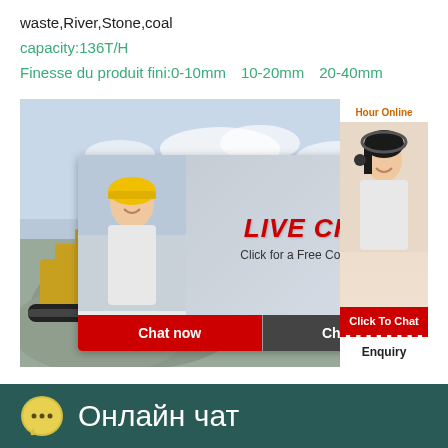waste,River,Stone,coal
capacity:136T/H
Finesse du produit fini:0-10mm、10-20mm、20-40mm
[Figure (screenshot): Industrial quarry/construction site background image with excavator and rock pile. Overlaid with a live chat popup showing two workers in helmets, LIVE CHAT heading, 'Click for a Free Consultation', 'Chat now' and 'Chat later' buttons. Right sidebar shows a customer service agent with headset, 'Hour Online', 'Click To Chat' and 'Enquiry' buttons.]
Онлайн чат